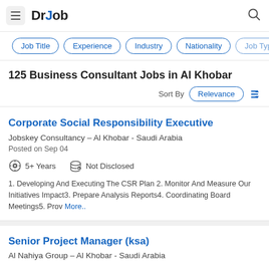DrJob
Job Title
Experience
Industry
Nationality
Job Type
125 Business Consultant Jobs in Al Khobar
Sort By Relevance
Corporate Social Responsibility Executive
Jobskey Consultancy - Al Khobar - Saudi Arabia
Posted on Sep 04
5+ Years   Not Disclosed
1. Developing And Executing The CSR Plan 2. Monitor And Measure Our Initiatives Impact3. Prepare Analysis Reports4. Coordinating Board Meetings5. Prov More..
Senior Project Manager (ksa)
Al Nahiya Group - Al Khobar - Saudi Arabia